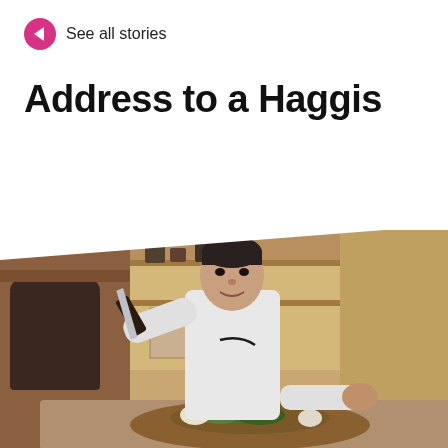See all stories
Address to a Haggis
[Figure (photo): A chef in a white uniform holding a large knife, leaning over a table with a haggis dish garnished with herbs and vegetables, in a traditional kitchen setting.]